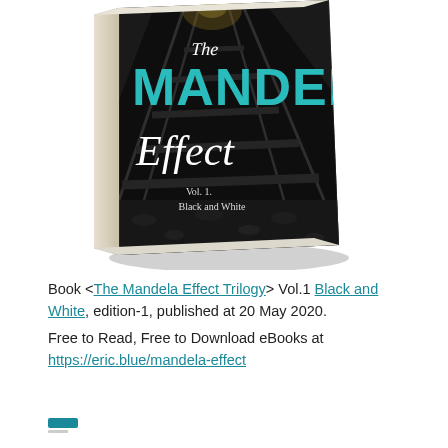[Figure (photo): 3D rendered book cover of 'The Mandela Effect Vol. 1: Black and White' showing railway tracks in black and white with teal/turquoise title text, displayed as a standing hardcover book with spine visible]
Book <The Mandela Effect Trilogy> Vol.1 Black and White, edition-1, published at 20 May 2020. Free to Read, Free to Download eBooks at https://eric.blue/mandela-effect